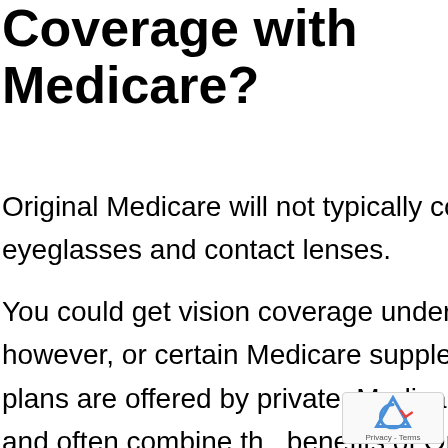Coverage with Medicare?
Original Medicare will not typically cover the costs for eye exams, eyeglasses and contact lenses.
You could get vision coverage under a Medicare Advantage Plan, however, or certain Medicare supplement plans (Medigap plans). These plans are offered by private, Medicare-approved insurance companies, and often combine the benefits of Original Medicare (Parts A & B)